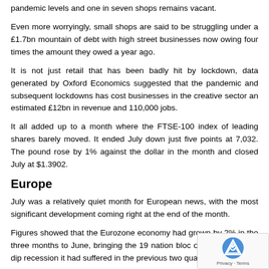pandemic levels and one in seven shops remains vacant.
Even more worryingly, small shops are said to be struggling under a £1.7bn mountain of debt with high street businesses now owing four times the amount they owed a year ago.
It is not just retail that has been badly hit by lockdown, data generated by Oxford Economics suggested that the pandemic and subsequent lockdowns has cost businesses in the creative sector an estimated £12bn in revenue and 110,000 jobs.
It all added up to a month where the FTSE-100 index of leading shares barely moved. It ended July down just five points at 7,032. The pound rose by 1% against the dollar in the month and closed July at $1.3902.
Europe
July was a relatively quiet month for European news, with the most significant development coming right at the end of the month.
Figures showed that the Eurozone economy had grown by 2% in the three months to June, bringing the 19 nation bloc out of the double-dip recession it had suffered in the previous two quarters.
Although the Eurozone is still below the pre-pandemic levels of 2019, the second quarter saw growth in all the individual economies. Spain and Italy, two countries badly hit by the pandemic, saw growth approaching 3%, while Portugal reported that its economy had grown by 4.9%, putting it finally ahead of pre-crisis…